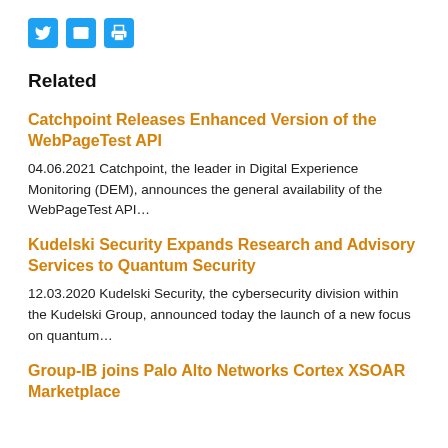[Figure (other): Social sharing icons: Twitter (bird), Email (envelope), Print (printer) — three blue square icon buttons]
Related
Catchpoint Releases Enhanced Version of the WebPageTest API
04.06.2021 Catchpoint, the leader in Digital Experience Monitoring (DEM), announces the general availability of the WebPageTest API…
Kudelski Security Expands Research and Advisory Services to Quantum Security
12.03.2020 Kudelski Security, the cybersecurity division within the Kudelski Group, announced today the launch of a new focus on quantum…
Group-IB joins Palo Alto Networks Cortex XSOAR Marketplace